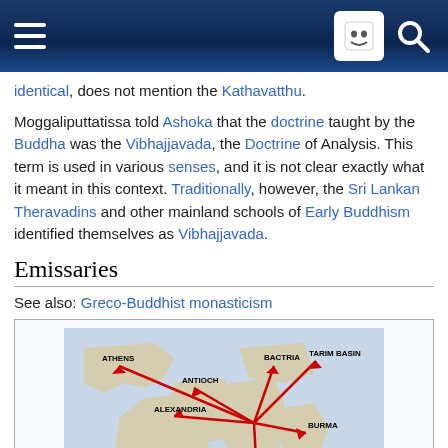Wikipedia mobile header with menu and search icons
identical, does not mention the Kathavatthu.
Moggaliputtatissa told Ashoka that the doctrine taught by the Buddha was the Vibhajjavada, the Doctrine of Analysis. This term is used in various senses, and it is not clear exactly what it meant in this context. Traditionally, however, the Sri Lankan Theravadins and other mainland schools of Early Buddhism identified themselves as Vibhajjavada.
Emissaries
See also: Greco-Buddhist monasticism
[Figure (map): Map showing Buddhist proselytism routes at the time of king Ashoka, with red arrows spreading from India to Athens, Antioch, Bactria, Tarim Basin, Burma, and Sri Lanka.]
Buddhist proselytism at the time of king Ashoka (260–218 BCE).